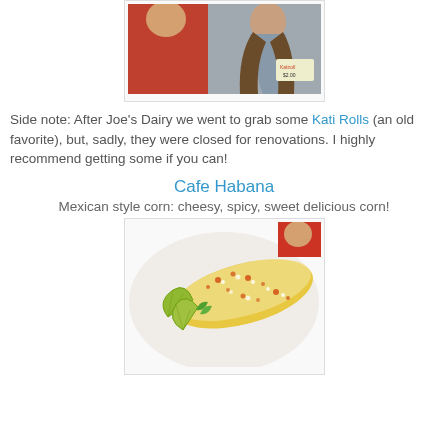[Figure (photo): Photo of people at Joe's Dairy, partial top-cropped view]
Side note: After Joe's Dairy we went to grab some Kati Rolls (an old favorite), but, sadly, they were closed for renovations. I highly recommend getting some if you can!
Cafe Habana
Mexican style corn: cheesy, spicy, sweet delicious corn!
[Figure (photo): Photo of Mexican style corn on a plate with lime and cilantro at Cafe Habana]